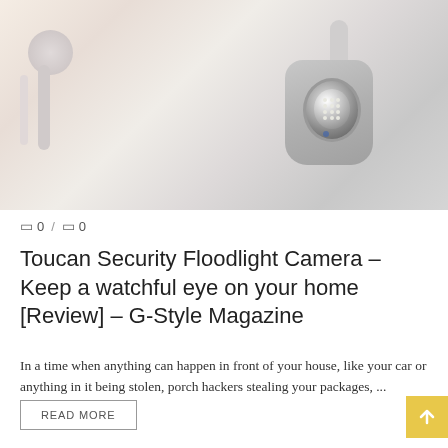[Figure (photo): A white security floodlight camera mounted on a white wall, showing the camera head with LED lens and mounting hardware.]
0 / 0
Toucan Security Floodlight Camera – Keep a watchful eye on your home [Review] – G-Style Magazine
In a time when anything can happen in front of your house, like your car or anything in it being stolen, porch hackers stealing your packages, ...